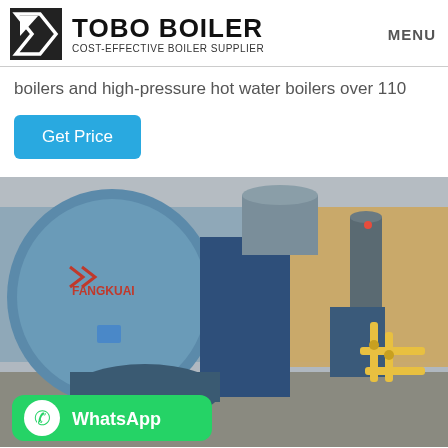TOBO BOILER — COST-EFFECTIVE BOILER SUPPLIER | MENU
boilers and high-pressure hot water boilers over 110
Get Price
[Figure (photo): Industrial boilers (FANGKUAI brand) installed in a facility, showing large blue cylindrical steam boilers with burners and yellow gas piping. A WhatsApp contact badge is overlaid at the bottom left.]